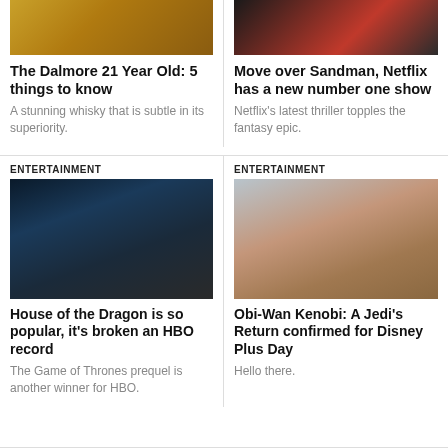[Figure (photo): Whisky glasses with amber liquid on dark background]
The Dalmore 21 Year Old: 5 things to know
A stunning whisky that is subtle in its superiority.
[Figure (photo): Person in red outfit on dark background]
Move over Sandman, Netflix has a new number one show
Netflix's latest thriller topples the fantasy epic.
ENTERTAINMENT
[Figure (photo): Pale-haired figure in dark sci-fi setting from House of the Dragon]
House of the Dragon is so popular, it's broken an HBO record
The Game of Thrones prequel is another winner for HBO.
ENTERTAINMENT
[Figure (photo): Hooded figure from behind against sky - Obi-Wan Kenobi]
Obi-Wan Kenobi: A Jedi's Return confirmed for Disney Plus Day
Hello there.